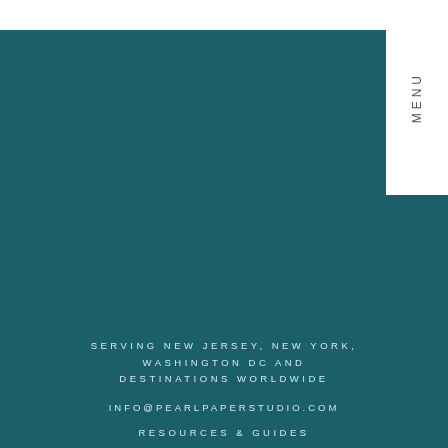MENU
SERVING NEW JERSEY, NEW YORK, WASHINGTON DC AND DESTINATIONS WORLDWIDE
INFO@PEARLPAPERSTUDIO.COM
RESOURCES & GUIDES